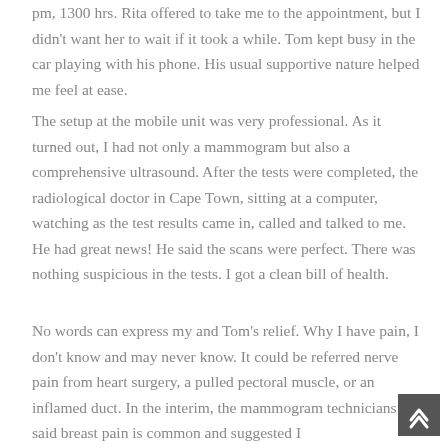pm, 1300 hrs. Rita offered to take me to the appointment, but I didn't want her to wait if it took a while. Tom kept busy in the car playing with his phone. His usual supportive nature helped me feel at ease.
The setup at the mobile unit was very professional. As it turned out, I had not only a mammogram but also a comprehensive ultrasound. After the tests were completed, the radiological doctor in Cape Town, sitting at a computer, watching as the test results came in, called and talked to me. He had great news! He said the scans were perfect. There was nothing suspicious in the tests. I got a clean bill of health.
No words can express my and Tom's relief. Why I have pain, I don't know and may never know. It could be referred nerve pain from heart surgery, a pulled pectoral muscle, or an inflamed duct. In the interim, the mammogram technicians said breast pain is common and suggested I